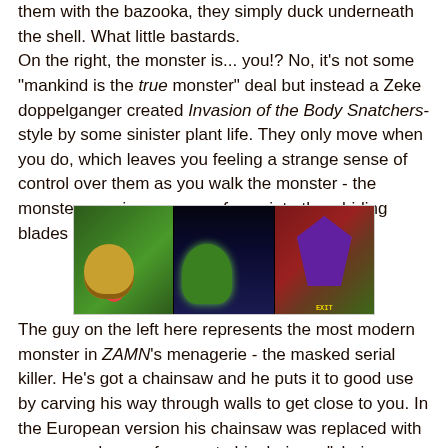them with the bazooka, they simply duck underneath the shell. What little bastards.
On the right, the monster is... you!? No, it's not some "mankind is the true monster" deal but instead a Zeke doppelganger created Invasion of the Body Snatchers-style by some sinister plant life. They only move when you do, which leaves you feeling a strange sense of control over them as you walk the monster - the monster wearing your own face - into the whirling blades of your weed-whacker.
[Figure (screenshot): Three side-by-side video game screenshots showing: left panel - a muscular character amid green foliage; middle panel - a green monster/zombie character in a dark setting; right panel - a large purple spider-like creature against a brick wall with green foliage.]
The guy on the left here represents the most modern monster in ZAMN's menagerie - the masked serial killer. He's got a chainsaw and he puts it to good use by carving his way through walls to get close to you. In the European version his chainsaw was replaced with an axe and any reference to him being a "chainsaw maniac" was changed to describe him as